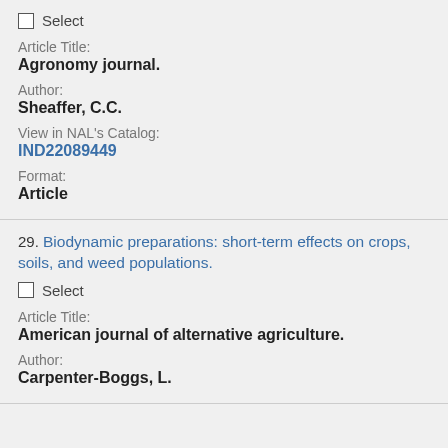Select (checkbox)
Article Title:
Agronomy journal.
Author:
Sheaffer, C.C.
View in NAL's Catalog:
IND22089449
Format:
Article
29. Biodynamic preparations: short-term effects on crops, soils, and weed populations.
Select (checkbox)
Article Title:
American journal of alternative agriculture.
Author:
Carpenter-Boggs, L.